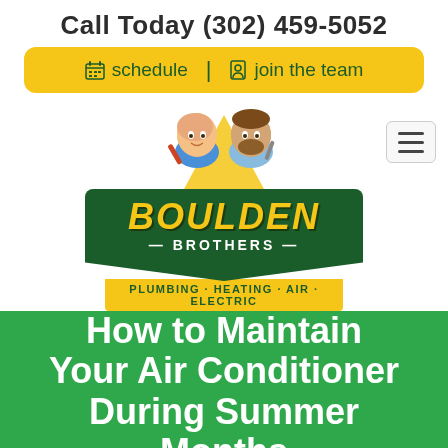Call Today (302) 459-5052
schedule  |  join the team
[Figure (logo): Boulden Brothers logo with two cartoon mascot characters, green shield banner reading BOULDEN in yellow italic text and BROTHERS below, with sub-banner reading PLUMBING · HEATING · AIR · ELECTRIC]
How to Maintain Your Air Conditioner During Summer Months